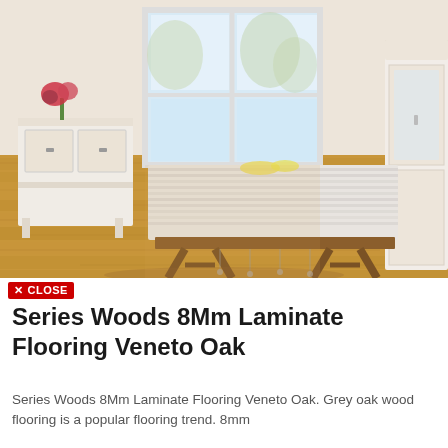[Figure (photo): Interior room photo showing laminate wood flooring in a warm golden oak colour. A dining table with a patterned tablecloth and wooden trestle bench sits in the centre, with a white sideboard on the left, a white cabinet/armoire on the right, and large windows letting in natural light from behind.]
X CLOSE
Series Woods 8Mm Laminate Flooring Veneto Oak
Series Woods 8Mm Laminate Flooring Veneto Oak. Grey oak wood flooring is a popular flooring trend. 8mm